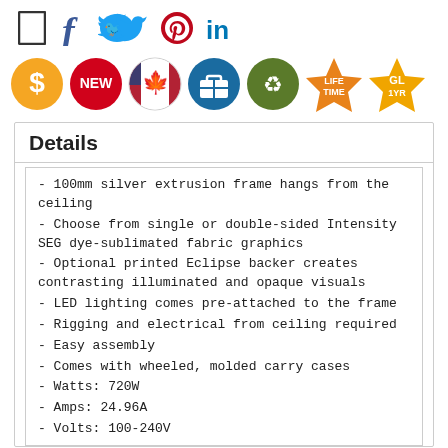[Figure (infographic): Social media sharing icons: share box, Facebook f, Twitter bird, Pinterest P, LinkedIn in]
[Figure (infographic): Seven badge icons: dollar sign (yellow circle), NEW (red circle), USA/Canada flag (circle), briefcase/bag (blue circle), recycle (green circle), LIFE TIME (orange star), GL 1YR (orange star)]
Details
- 100mm silver extrusion frame hangs from the ceiling
- Choose from single or double-sided Intensity SEG dye-sublimated fabric graphics
- Optional printed Eclipse backer creates contrasting illuminated and opaque visuals
- LED lighting comes pre-attached to the frame
- Rigging and electrical from ceiling required
- Easy assembly
- Comes with wheeled, molded carry cases
- Watts: 720W
- Amps: 24.96A
- Volts: 100-240V